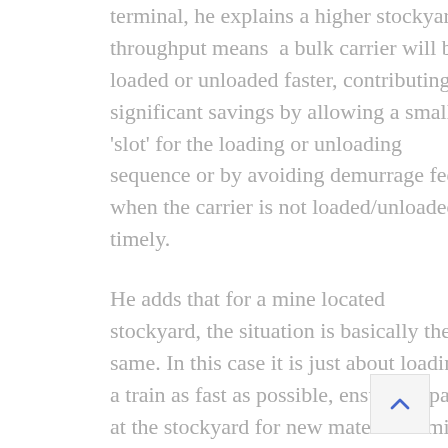terminal, he explains a higher stockyard throughput means  a bulk carrier will be loaded or unloaded faster, contributing to significant savings by allowing a smaller 'slot' for the loading or unloading sequence or by avoiding demurrage fees when the carrier is not loaded/unloaded timely.
He adds that for a mine located stockyard, the situation is basically the same. In this case it is just about loading a train as fast as possible, ensuring space at the stockyard for new material coming from the mine.